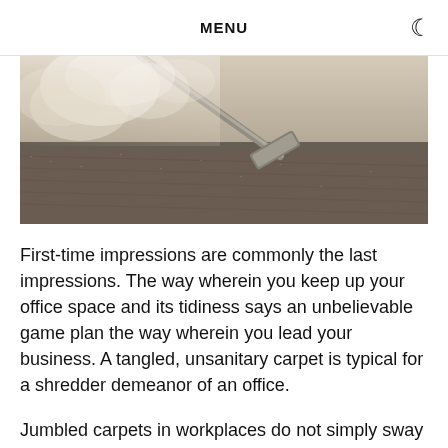MENU
[Figure (photo): A steam carpet cleaning machine operating on a carpet floor, with steam/vapor rising, close-up low-angle shot in sepia/muted tones.]
First-time impressions are commonly the last impressions. The way wherein you keep up your office space and its tidiness says an unbelievable game plan the way wherein you lead your business. A tangled, unsanitary carpet is typical for a shredder demeanor of an office.
Jumbled carpets in workplaces do not simply sway the...